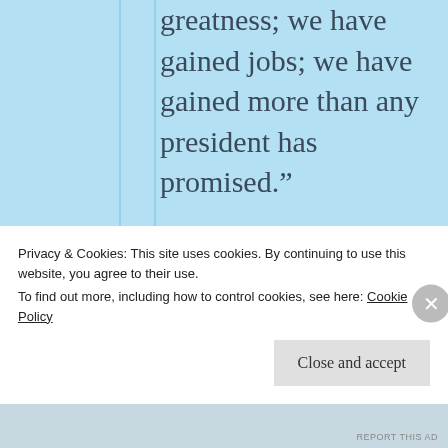greatness; we have gained jobs; we have gained more than any president has promised.”
Thank you, Jon Voight, one of the few actors with the courage to stand up for America and our
Privacy & Cookies: This site uses cookies. By continuing to use this website, you agree to their use.
To find out more, including how to control cookies, see here: Cookie Policy